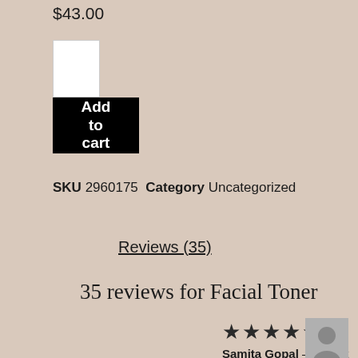$43.00
[Figure (other): White quantity input box]
[Figure (other): Black Add to cart button with white text]
SKU 2960175  Category  Uncategorized
Reviews (35)
35 reviews for Facial Toner
★★★★★
Samita Gopal – August 26, 2019
[Figure (other): Grey avatar silhouette placeholder image]
Obsessed with the toner! The best toner I've ever used!